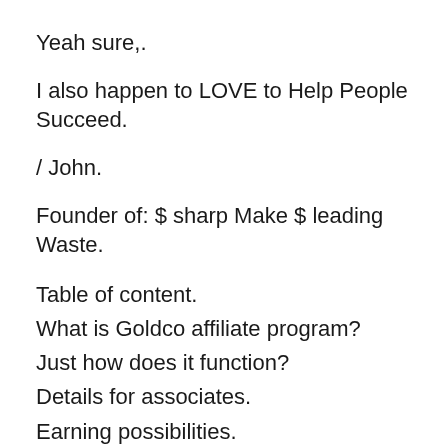Yeah sure,.
I also happen to LOVE to Help People Succeed.
/ John.
Founder of: $ sharp Make $ leading Waste.
Table of content.
What is Goldco affiliate program?
Just how does it function?
Details for associates.
Earning possibilities.
Some examples of my payments & profits.
How do you make money?
Other options?